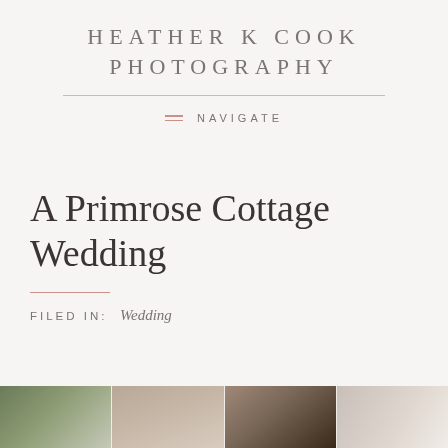HEATHER K COOK PHOTOGRAPHY
≡ NAVIGATE
A Primrose Cottage Wedding
FILED IN: Wedding
[Figure (photo): Bottom strip of wedding venue photos, partially visible, showing greenery, stone pillars, and light-colored elements]